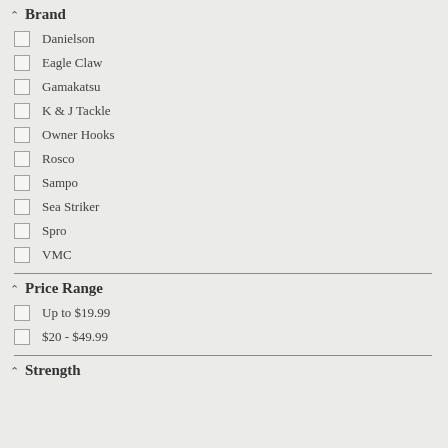Brand
Danielson
Eagle Claw
Gamakatsu
K & J Tackle
Owner Hooks
Rosco
Sampo
Sea Striker
Spro
VMC
Price Range
Up to $19.99
$20 - $49.99
Strength